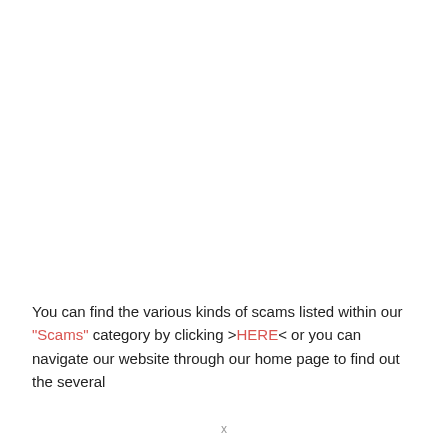You can find the various kinds of scams listed within our “Scams” category by clicking >HERE< or you can navigate our website through our home page to find out the several
x